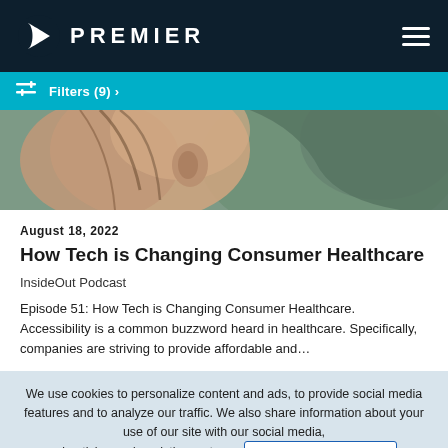PREMIER
Filters (9) >
[Figure (photo): Close-up photo of a person's ear and hair, partially blurred, with a green/teal fabric in the background.]
August 18, 2022
How Tech is Changing Consumer Healthcare
InsideOut Podcast
Episode 51: How Tech is Changing Consumer Healthcare. Accessibility is a common buzzword heard in healthcare. Specifically, companies are striving to provide affordable and…
We use cookies to personalize content and ads, to provide social media features and to analyze our traffic. We also share information about your use of our site with our social media, advertising and analytics partners. Premier Inc. Privacy Policy